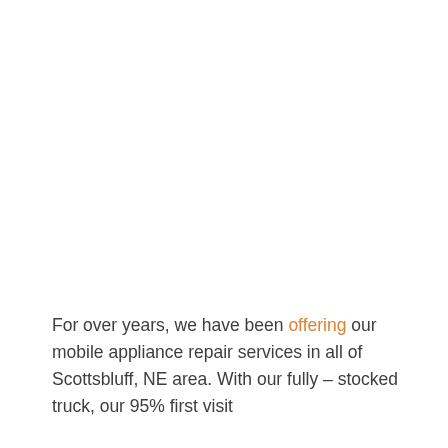For over years, we have been offering our mobile appliance repair services in all of Scottsbluff, NE area. With our fully – stocked truck, our 95% first visit